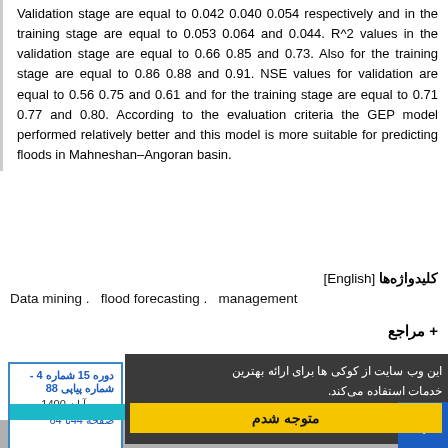Validation stage are equal to 0.042 0.040 0.054 respectively and in the training stage are equal to 0.053 0.064 and 0.044. R^2 values in the validation stage are equal to 0.66 0.85 and 0.73. Also for the training stage are equal to 0.86 0.88 and 0.91. NSE values for validation are equal to 0.56 0.75 and 0.61 and for the training stage are equal to 0.71 0.77 and 0.80. According to the evaluation criteria the GEP model performed relatively better and this model is more suitable for predicting floods in Mahneshan-Angoran basin.
کلیدواژه‌ها [English]
Data mining . flood forecasting . management
+ مراجع
این وب سایت از کوکی ها برای اطمینان از ارائه بهترین خدمات استفاده می‌کند.
متوجه شدم
دوره 15 شماره 4 - شماره پیاپی 88
مهر و آبان 1400
صفحه 44تا 64